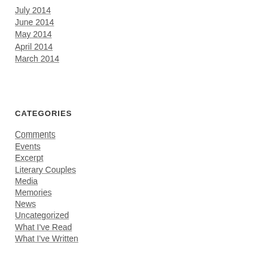July 2014
June 2014
May 2014
April 2014
March 2014
CATEGORIES
Comments
Events
Excerpt
Literary Couples
Media
Memories
News
Uncategorized
What I've Read
What I've Written